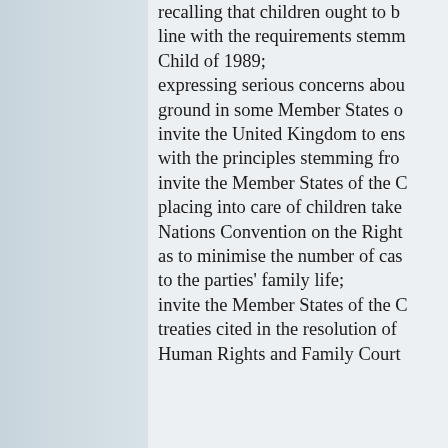recalling that children ought to be brought up in line with the requirements stemming from the Convention on the Rights of the Child of 1989; expressing serious concerns about the loss of ground in some Member States of the Council of Europe, and invite the United Kingdom to ensure compliance with the principles stemming from the Convention; invite the Member States of the Council of Europe, that the placing into care of children taken abroad is in line with the United Nations Convention on the Rights of the Child, and to do everything as to minimise the number of cases of care taking that could be prejudical to the parties' family life; invite the Member States of the Council of Europe to ratify all the treaties cited in the resolution of the Parliamentary Assembly on transfrontier Human Rights and Family Courts;
PRAGUE CONFERENCE O
Kategori: Press releases